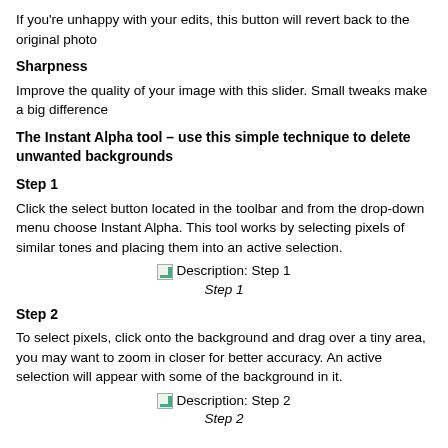If you're unhappy with your edits, this button will revert back to the original photo
Sharpness
Improve the quality of your image with this slider. Small tweaks make a big difference
The Instant Alpha tool – use this simple technique to delete unwanted backgrounds
Step 1
Click the select button located in the toolbar and from the drop-down menu choose Instant Alpha. This tool works by selecting pixels of similar tones and placing them into an active selection.
[Figure (other): Broken image placeholder labeled 'Description: Step 1']
Step 1
Step 2
To select pixels, click onto the background and drag over a tiny area, you may want to zoom in closer for better accuracy. An active selection will appear with some of the background in it.
[Figure (other): Broken image placeholder labeled 'Description: Step 2']
Step 2